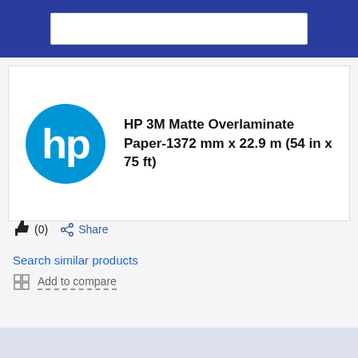[Figure (logo): HP logo — blue circle with white HP letters]
HP 3M Matte Overlaminate Paper-1372 mm x 22.9 m (54 in x 75 ft)
(0)
Share
Search similar products
Add to compare